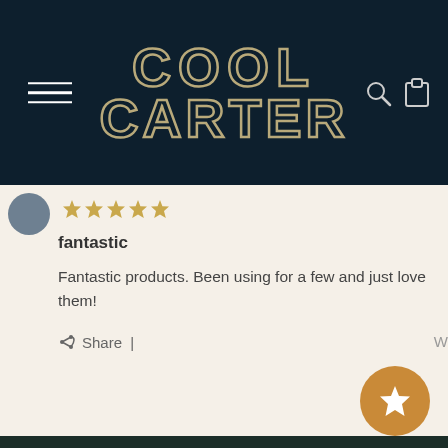COOL CARTER
fantastic
Fantastic products. Been using for a few and just love them!
Share |